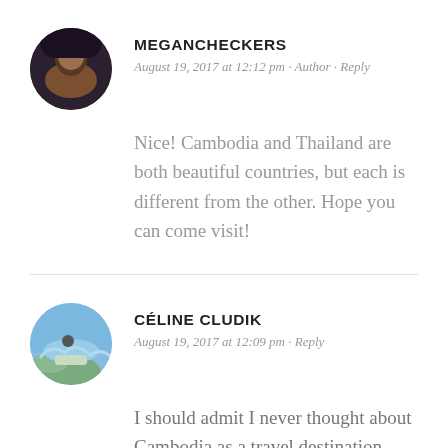MEGANCHECKERS
August 19, 2017 at 12:12 pm · Author · Reply
Nice! Cambodia and Thailand are both beautiful countries, but each is different from the other. Hope you can come visit!
CÉLINE CLUDIK
August 19, 2017 at 12:09 pm · Reply
I should admit I never thought about Cambodia as a travel destination. Cambodia has never been on my radar (I don't know really why?) but now I feel like I definitely need to go. Kampot seems one